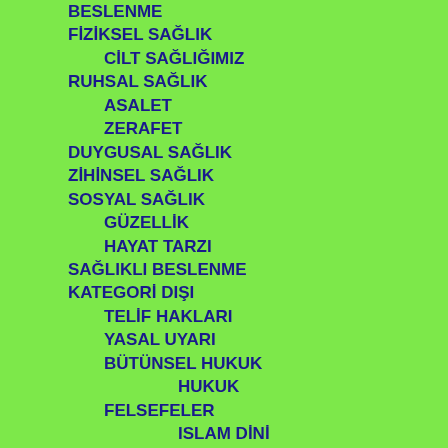BESLENME
FİZİKSEL SAĞLIK
CİLT SAĞLIĞIMIZ
RUHSAL SAĞLIK
ASALET
ZERAFET
DUYGUSAL SAĞLIK
ZİHİNSEL SAĞLIK
SOSYAL SAĞLIK
GÜZELLİK
HAYAT TARZI
SAĞLIKLI BESLENME
KATEGORİ DIŞI
TELİF HAKLARI
YASAL UYARI
BÜTÜNSEL HUKUK
HUKUK
FELSEFELER
ISLAM DİNİ
İSLAM DİNİ
KONSERTLER